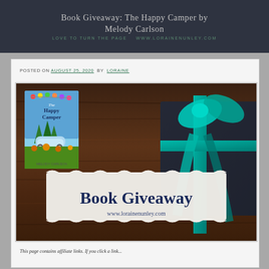Book Giveaway: The Happy Camper by Melody Carlson
LOVE TO TURN THE PAGE
WWW.LORAINENUNLEY.COM
POSTED ON AUGUST 25, 2020 BY LORAINE
[Figure (photo): Book Giveaway promotional image showing a dark gift box with teal ribbon on a wooden table, with The Happy Camper book cover inset in the upper left, and a white banner reading 'Book Giveaway www.lorainenunley.com']
This page contains affiliate links. If you click a link...